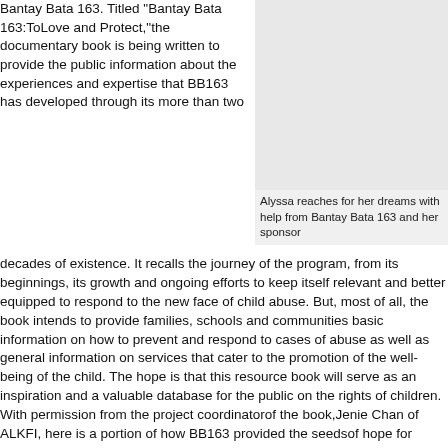Bantay Bata 163. Titled “Bantay Bata 163:ToLove and Protect,”the documentary book is being written to provide the public information about the experiences and expertise that BB163 has developed through its more than two
[Figure (photo): Photo of Alyssa reaching for her dreams with help from Bantay Bata 163 and her sponsor]
Alyssa reaches for her dreams with help from Bantay Bata 163 and her sponsor
decades of existence. It recalls the journey of the program, from its beginnings, its growth and ongoing efforts to keep itself relevant and better equipped to respond to the new face of child abuse. But, most of all, the book intends to provide families, schools and communities basic information on how to prevent and respond to cases of abuse as well as general information on services that cater to the promotion of the well-being of the child. The hope is that this resource book will serve as an inspiration and a valuable database for the public on the rights of children. With permission from the project coordinatorof the book,Jenie Chan of ALKFI, here is a portion of how BB163 provided the seedsof hope for many children (not necessarily abused and the recipients of Alyssa from Bantay Bata 163 as BB163...